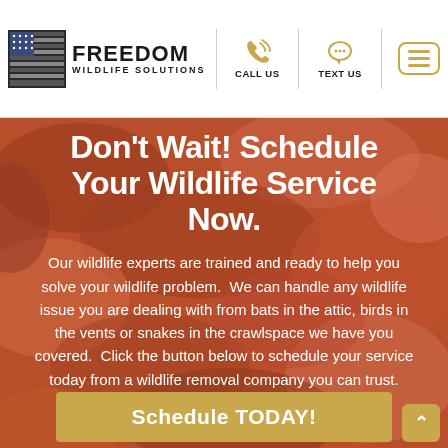Freedom Wildlife Solutions — CALL US | TEXT US | Menu
Don't Wait! Schedule Your Wildlife Service Now.
Our wildlife experts are trained and ready to help you solve your wildlife problem.  We can handle any wildlife issue you are dealing with from bats in the attic, birds in the vents or snakes in the crawlspace we have you covered.  Click the button below to schedule your service today from a wildlife removal company you can trust.
Schedule TODAY!